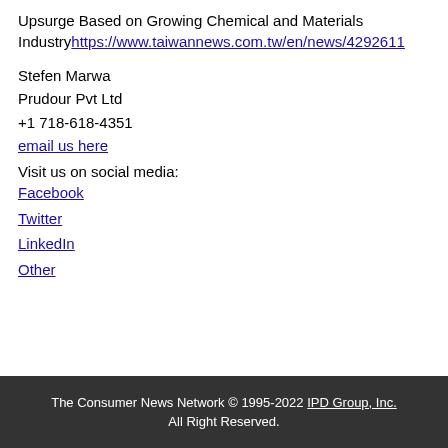Upsurge Based on Growing Chemical and Materials Industry https://www.taiwannews.com.tw/en/news/4292611
Stefen Marwa
Prudour Pvt Ltd
+1 718-618-4351
email us here
Visit us on social media:
Facebook
Twitter
LinkedIn
Other
The Consumer News Network © 1995-2022 IPD Group, Inc. All Right Reserved.